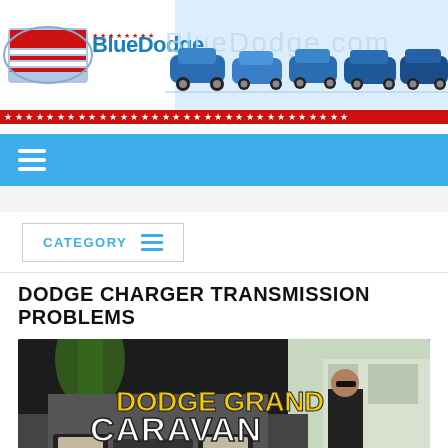[Figure (screenshot): BlueDodge.com website header banner with logo (BlueDodge text in blue with stars-and-stripes eagle graphic) and multiple blue Dodge vehicles lined up on the right, with BlueDodge.com text watermark]
[Figure (screenshot): Red star/dot decorative border strip]
CATEGORY
DODGE CHARGER TRANSMISSION PROBLEMS
[Figure (screenshot): Video thumbnail showing yellow and white text 'DODGE GRAND CARAVAN' with 'Honest Mechanic Review' subtitle, featuring a man in dark clothing standing in front of a house with a Dodge Grand Caravan vehicle]